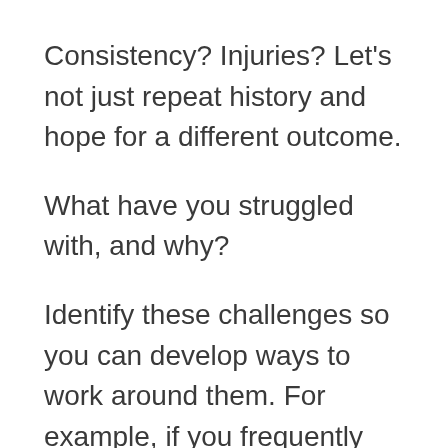Consistency? Injuries? Let's not just repeat history and hope for a different outcome.
What have you struggled with, and why?
Identify these challenges so you can develop ways to work around them. For example, if you frequently got injured, were you using proper form? Were you listening to your body? Were you taking appropriate modifications?